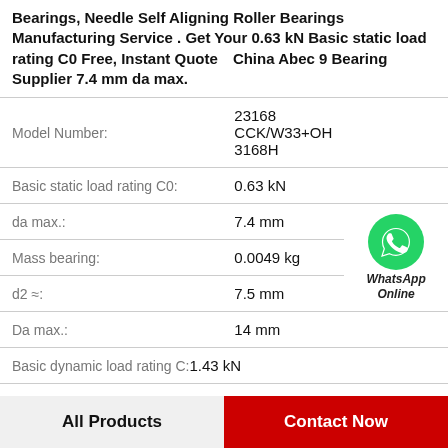Bearings, Needle Self Aligning Roller Bearings Manufacturing Service . Get Your 0.63 kN Basic static load rating C0 Free, Instant Quote China Abec 9 Bearing Supplier 7.4 mm da max.
| Property | Value |
| --- | --- |
| Model Number: | 23168 CCK/W33+OH 3168H |
| Basic static load rating C0: | 0.63 kN |
| da max.: | 7.4 mm |
| Mass bearing: | 0.0049 kg |
| d2 ≈: | 7.5 mm |
| Da max.: | 14 mm |
| Basic dynamic load rating C: | 1.43 kN |
[Figure (logo): WhatsApp Online green phone icon with WhatsApp Online label]
All Products | Contact Now